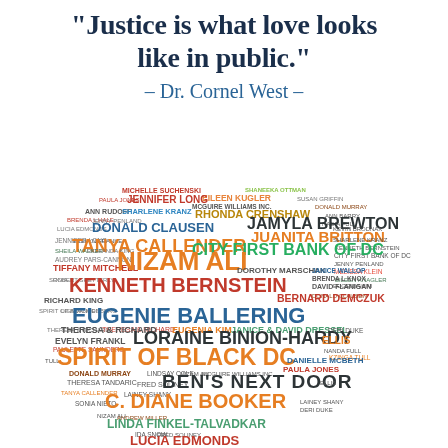“Justice is what love looks like in public.”
– Dr. Cornel West –
[Figure (infographic): A word cloud arranged in the shape of a heart, containing names of donors and supporters including: Michelle Suchenski, Jennifer Long, Paula Jones, Ann Rudoff, Eugenie Ballering, Sharlene Kranz, Donald Clausen, Tanya Callender, Nizam Ali, Tiffany Mitchell, Kenneth Bernstein, Richard King, Eugenie Ballering, Theresa & Richard, Eugenia Kim, Janice & David Dressel, Evelyn Frankl, Loraine Binion-Hardy, Ellis, Spirit of Black DC, Ben's Next Door, C. Diane Booker, Linda Finkel-Talvadkar, Lucia Edmonds, Susan Griffin, Melissa Klein, Randy Plummer, and many others. Names appear in various colors including teal, orange, red, dark blue, olive, and brown.]